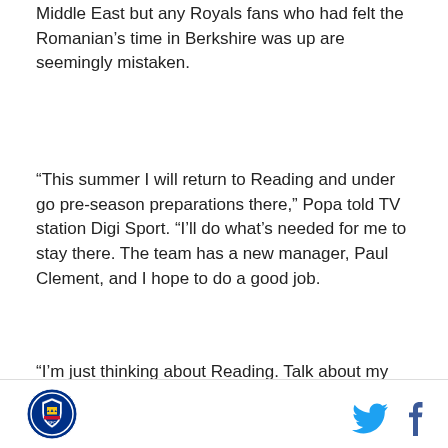Middle East but any Royals fans who had felt the Romanian's time in Berkshire was up are seemingly mistaken.
“This summer I will return to Reading and under go pre-season preparations there,” Popa told TV station Digi Sport. “I’ll do what’s needed for me to stay there. The team has a new manager, Paul Clement, and I hope to do a good job.
“I’m just thinking about Reading. Talk about my transfer to Steaua is just speculation. It’s not true.”
Indeed, he had been linked to former club Steaua Bucharest and yet it seems the change of manager at Reading has had a big effect on Popa’s intentions
[Figure (logo): Reading FC club crest logo]